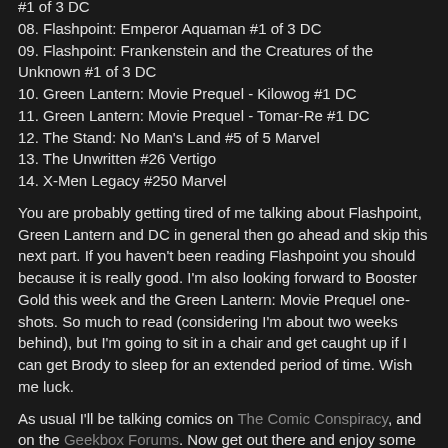#1 of 3 DC
08. Flashpoint: Emperor Aquaman #1 of 3 DC
09. Flashpoint: Frankenstein and the Creatures of the Unknown #1 of 3 DC
10. Green Lantern: Movie Prequel - Kilowog #1 DC
11. Green Lantern: Movie Prequel - Tomar-Re #1 DC
12. The Stand: No Man's Land #5 of 5 Marvel
13. The Unwritten #26 Vertigo
14. X-Men Legacy #250 Marvel
You are probably getting tired of me talking about Flashpoint, Green Lantern and DC in general then go ahead and skip this next part. If you haven't been reading Flashpoint you should because it is really good. I'm also looking forward to Booster Gold this week and the Green Lantern: Movie Prequel one-shots. So much to read (considering I'm about two weeks behind), but I'm going to sit in a chair and get caught up if I can get Brody to sleep for an extended period of time. Wish me luck.
As usual I'll be talking comics on The Comic Conspiracy, and on the Geekbox Forums. Now get out there and enjoy some